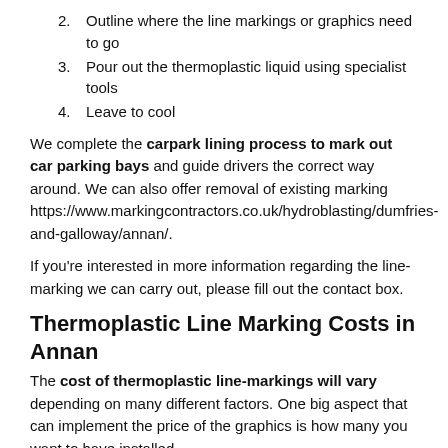2. Outline where the line markings or graphics need to go
3. Pour out the thermoplastic liquid using specialist tools
4. Leave to cool
We complete the carpark lining process to mark out car parking bays and guide drivers the correct way around. We can also offer removal of existing marking https://www.markingcontractors.co.uk/hydroblasting/dumfries-and-galloway/annan/.
If you're interested in more information regarding the line-marking we can carry out, please fill out the contact box.
Thermoplastic Line Marking Costs in Annan
The cost of thermoplastic line-markings will vary depending on many different factors. One big aspect that can implement the price of the graphics is how many you want to have installed.
Obviously if you are looking to line-mark a big carpark with lots of parking bays, the thermoplastic line-marking costs will be much higher than if you were to outline just a few bays in a smaller carpark closest to you.